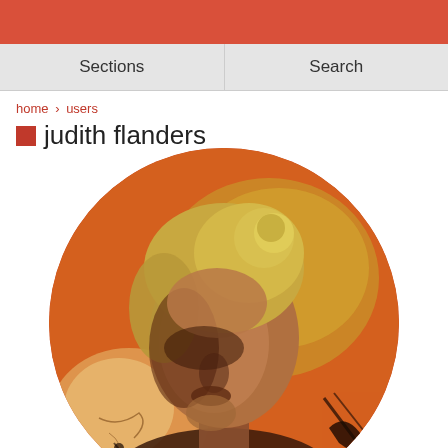Sections | Search
home > users
judith flanders
[Figure (photo): Circular cropped artistic profile photo of Judith Flanders — a woman with blonde curled vintage-style hair, looking upward, set against an orange-red textured painted background with abstract splatter marks]